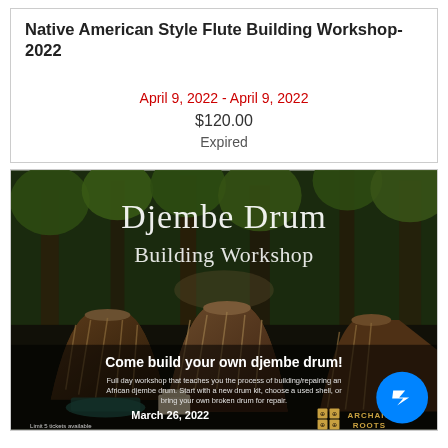Native American Style Flute Building Workshop- 2022
April 9, 2022 - April 9, 2022
$120.00
Expired
[Figure (photo): Djembe Drum Building Workshop promotional image showing three djembe drums in a forest setting with text overlay: 'Come build your own djembe drum! Full day workshop that teaches you the process of building/repairing an African djembe drum. Start with a new drum kit, choose a used shell, or bring your own broken drum for repair. March 26, 2022. Limit 5 tickets available. www.archaicroots.com. Archaic Roots logo.']